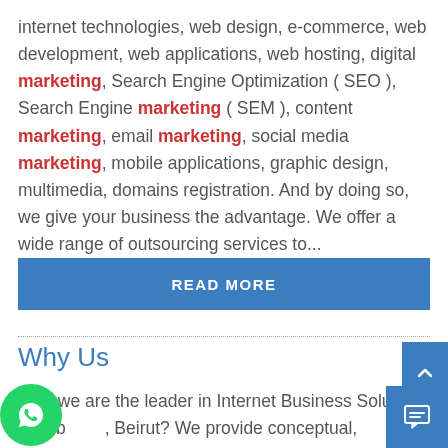internet technologies, web design, e-commerce, web development, web applications, web hosting, digital marketing, Search Engine Optimization ( SEO ), Search Engine marketing ( SEM ), content marketing, email marketing, social media marketing, mobile applications, graphic design, multimedia, domains registration. And by doing so, we give your business the advantage. We offer a wide range of outsourcing services to...
READ MORE
Why Us
Why we are the leader in Internet Business Solutions in Lebanon, Beirut? We provide conceptual, workable, presentational development for the global business...